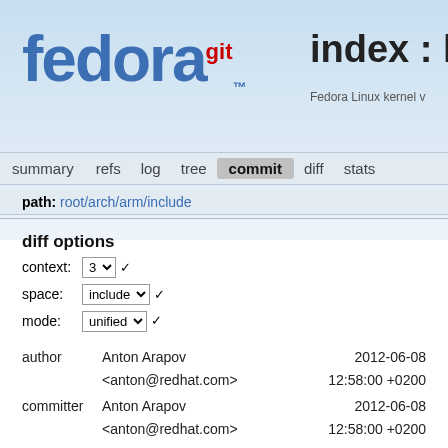[Figure (logo): Fedora git logo with blue fedora text and red git superscript]
index : ke
Fedora Linux kernel v
summary  refs  log  tree  commit  diff  stats
path: root/arch/arm/include
diff options
context: 3
space: include
mode: unified
|  |  |  |
| --- | --- | --- |
| author | Anton Arapov | 2012-06-08 |
|  | <anton@redhat.com> | 12:58:00 +0200 |
| committer | Anton Arapov | 2012-06-08 |
|  | <anton@redhat.com> | 12:58:00 +0200 |
| commit | 6792a3f47a2e42d7164292bf7f1a55cfc4c91652 |  |
|  | (patch) |  |
| tree | b90c002bfbbeaec92f5d8a2383dcabf6524016f7 |  |